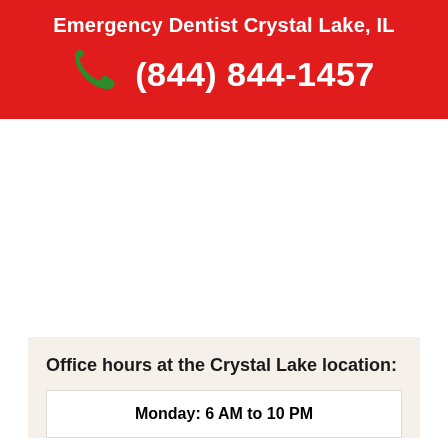Emergency Dentist Crystal Lake, IL
(844) 844-1457
Office hours at the Crystal Lake location:
Monday: 6 AM to 10 PM